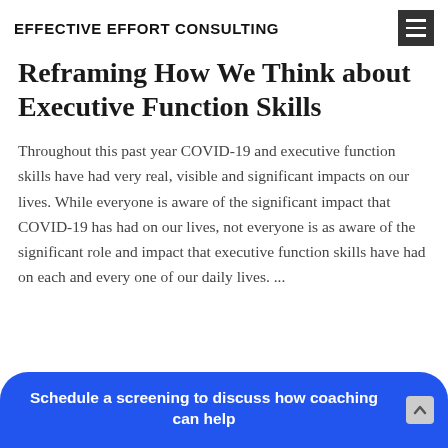EFFECTIVE EFFORT CONSULTING
Reframing How We Think about Executive Function Skills
Throughout this past year COVID-19 and executive function skills have had very real, visible and significant impacts on our lives. While everyone is aware of the significant impact that COVID-19 has had on our lives, not everyone is as aware of the significant role and impact that executive function skills have had on each and every one of our daily lives. ...
Schedule a screening to discuss how coaching can help